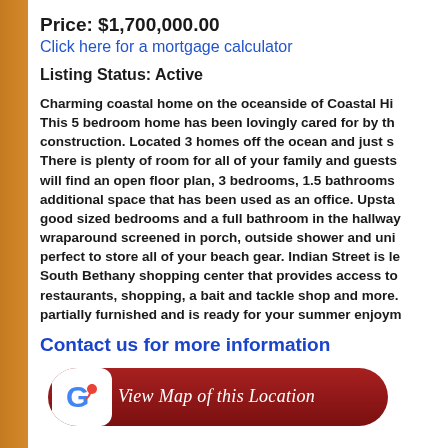Price: $1,700,000.00
Click here for a mortgage calculator
Listing Status: Active
Charming coastal home on the oceanside of Coastal Hi. This 5 bedroom home has been lovingly cared for by th construction. Located 3 homes off the ocean and just s. There is plenty of room for all of your family and guests. will find an open floor plan, 3 bedrooms, 1.5 bathrooms additional space that has been used as an office. Upsta good sized bedrooms and a full bathroom in the hallway wraparound screened in porch, outside shower and uni perfect to store all of your beach gear. Indian Street is le South Bethany shopping center that provides access to restaurants, shopping, a bait and tackle shop and more. partially furnished and is ready for your summer enjoym
Contact us for more information
[Figure (other): Google Maps button: View Map of this Location]